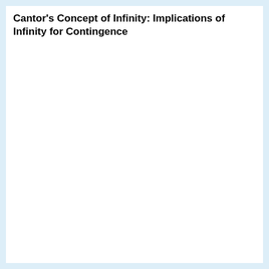Cantor's Concept of Infinity: Implications of Infinity for Contingence